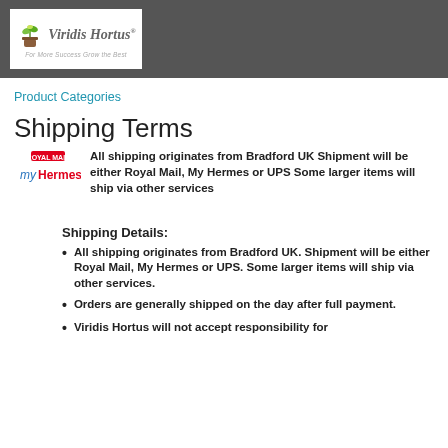[Figure (logo): Viridis Hortus logo with plant/pot icon and tagline 'For More Success Grow the Best']
Product Categories
Shipping Terms
All shipping originates from Bradford UK Shipment will be either Royal Mail, My Hermes or UPS Some larger items will ship via other services
Shipping Details:
All shipping originates from Bradford UK. Shipment will be either Royal Mail, My Hermes or UPS. Some larger items will ship via other services.
Orders are generally shipped on the day after full payment.
Viridis Hortus will not accept responsibility for